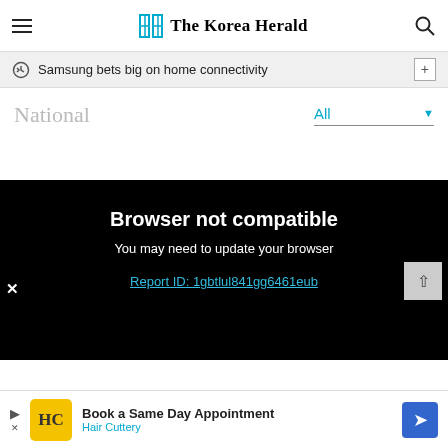The Korea Herald
Samsung bets big on home connectivity
National
All
Browser not compatible
You may need to update your browser
Report ID: 1gbtlul841gg6461eub
Book a Same Day Appointment
Hair Cuttery